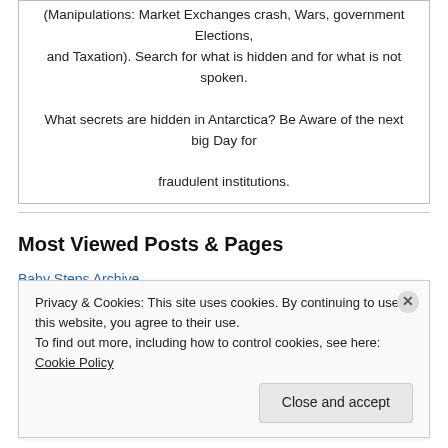(Manipulations: Market Exchanges crash, Wars, government Elections, and Taxation). Search for what is hidden and for what is not spoken. What secrets are hidden in Antarctica? Be Aware of the next big Day for fraudulent institutions.
Most Viewed Posts & Pages
Baby Steps Archive
Ferdinand Edralin Marcos LAST WILL AND TESTAMENT
The End of the Kali Yuga in 2025?
THE ESF AND ITS HISTORY (Parts 1-5)
Privacy & Cookies: This site uses cookies. By continuing to use this website, you agree to their use. To find out more, including how to control cookies, see here: Cookie Policy